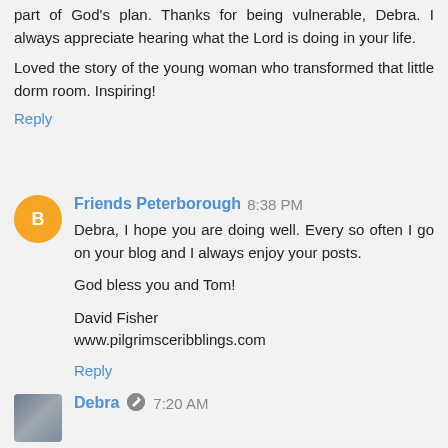part of God's plan. Thanks for being vulnerable, Debra. I always appreciate hearing what the Lord is doing in your life.
Loved the story of the young woman who transformed that little dorm room. Inspiring!
Reply
Friends Peterborough  8:38 PM
Debra, I hope you are doing well. Every so often I go on your blog and I always enjoy your posts.

God bless you and Tom!

David Fisher
www.pilgrimsceribblings.com
Reply
Debra  7:20 AM